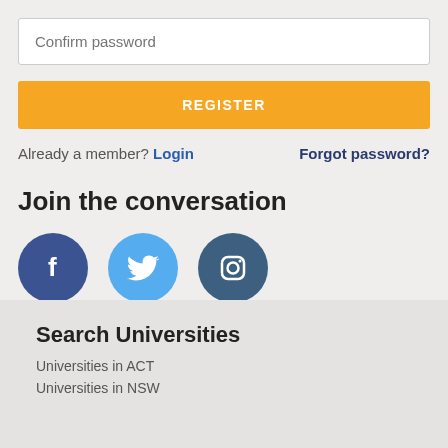Confirm password
REGISTER
Already a member? Login   Forgot password?
Join the conversation
[Figure (illustration): Three social media icons: Facebook (dark blue circle with 'f'), Twitter (light blue circle with bird), Instagram (dark teal circle with camera)]
Search Universities
Universities in ACT
Universities in NSW